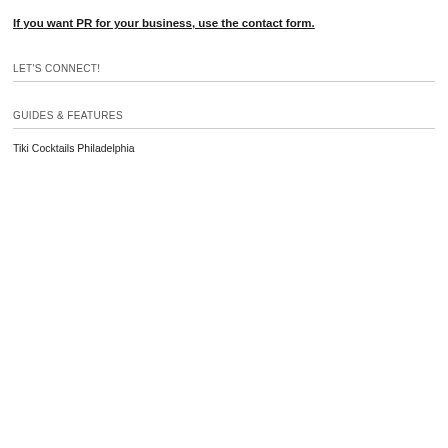If you want PR for your business, use the contact form.
LET'S CONNECT!
GUIDES & FEATURES
Tiki Cocktails Philadelphia